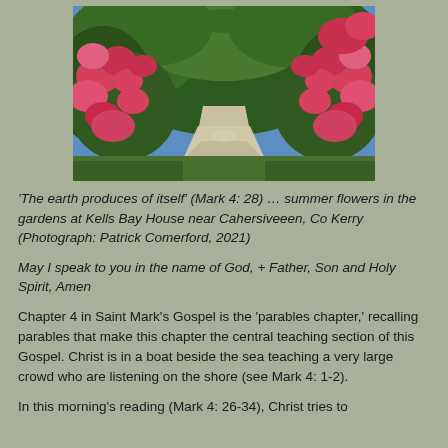[Figure (photo): A garden path flanked by lush green trees and bright pink/red flowering rhododendrons or similar flowers, with a path leading into the distance under a blue sky.]
'The earth produces of itself' (Mark 4: 28) … summer flowers in the gardens at Kells Bay House near Cahersiveeen, Co Kerry (Photograph: Patrick Comerford, 2021)
May I speak to you in the name of God, + Father, Son and Holy Spirit, Amen
Chapter 4 in Saint Mark's Gospel is the 'parables chapter,' recalling parables that make this chapter the central teaching section of this Gospel. Christ is in a boat beside the sea teaching a very large crowd who are listening on the shore (see Mark 4: 1-2).
In this morning's reading (Mark 4: 26-34), Christ tries to